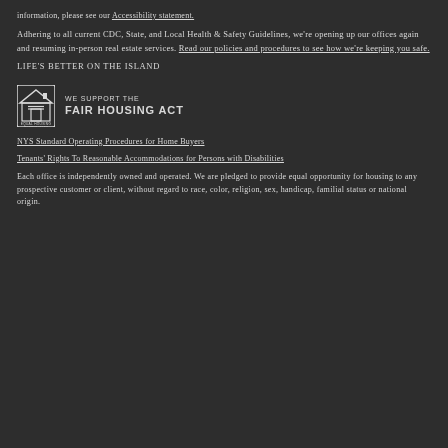information, please see our Accessibility statement.
Adhering to all current CDC, State, and Local Health & Safety Guidelines, we're opening up our offices again and resuming in-person real estate services. Read our policies and procedures to see how we're keeping you safe.
LIFE'S BETTER ON THE ISLAND
[Figure (logo): Equal Housing Opportunity logo with house icon and 'EQUAL HOUSING OPPORTUNITY' text]
WE SUPPORT THE FAIR HOUSING ACT
NYS Standard Operating Procedures for Home Buyers
Tenants' Rights To Reasonable Accommodations for Persons with Disabilities
Each office is independently owned and operated. We are pledged to provide equal opportunity for housing to any prospective customer or client, without regard to race, color, religion, sex, handicap, familial status or national origin.